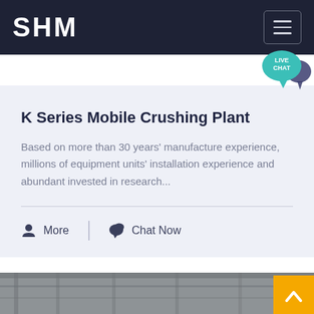SHM
K Series Mobile Crushing Plant
Based on more than 30 years' manufacture experience, millions of equipment units' installation experience and abundant invested in research...
More
Chat Now
[Figure (photo): Bottom industrial building interior photo, partially visible]